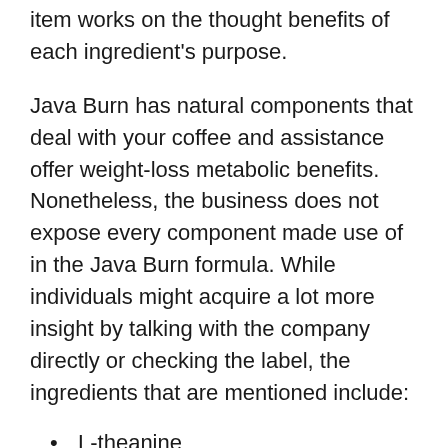item works on the thought benefits of each ingredient's purpose.
Java Burn has natural components that deal with your coffee and assistance offer weight-loss metabolic benefits. Nonetheless, the business does not expose every component made use of in the Java Burn formula. While individuals might acquire a lot more insight by talking with the company directly or checking the label, the ingredients that are mentioned include:
L-theanine
L-carnitine
Environment-friendly tea
Chromium-enriched yeast